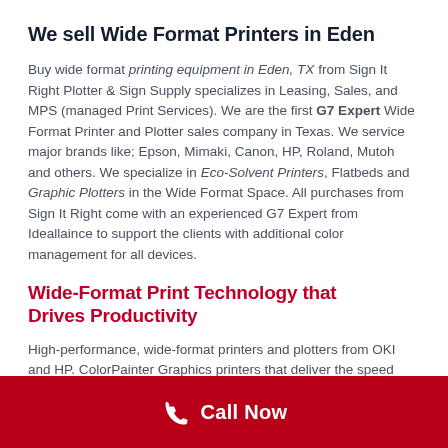We sell Wide Format Printers in Eden
Buy wide format printing equipment in Eden, TX from Sign It Right Plotter & Sign Supply specializes in Leasing, Sales, and MPS (managed Print Services). We are the first G7 Expert Wide Format Printer and Plotter sales company in Texas. We service major brands like; Epson, Mimaki, Canon, HP, Roland, Mutoh and others. We specialize in Eco-Solvent Printers, Flatbeds and Graphic Plotters in the Wide Format Space. All purchases from Sign It Right come with an experienced G7 Expert from Ideallaince to support the clients with additional color management for all devices.
Wide-Format Print Technology that Drives Productivity
High-performance, wide-format printers and plotters from OKI and HP. ColorPainter Graphics printers that deliver the speed and performance demanded by print
Call Now